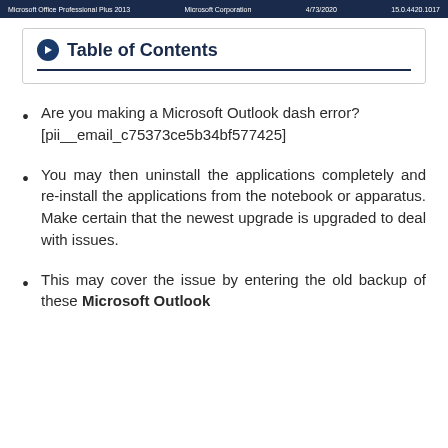Microsoft Office Professional Plus 2013   Microsoft Corporation   4/73/2020   15.0.4420.1017
Table of Contents
Are you making a Microsoft Outlook dash error? [pii__email_c75373ce5b34bf577425]
You may then uninstall the applications completely and re-install the applications from the notebook or apparatus. Make certain that the newest upgrade is upgraded to deal with issues.
This may cover the issue by entering the old backup of these Microsoft Outlook